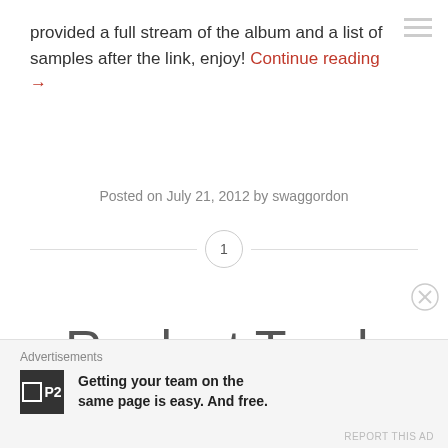provided a full stream of the album and a list of samples after the link, enjoy! Continue reading →
Posted on July 21, 2012 by swaggordon
1
Realest Track Rick Ross Ever Made
Advertisements
Getting your team on the same page is easy. And free.